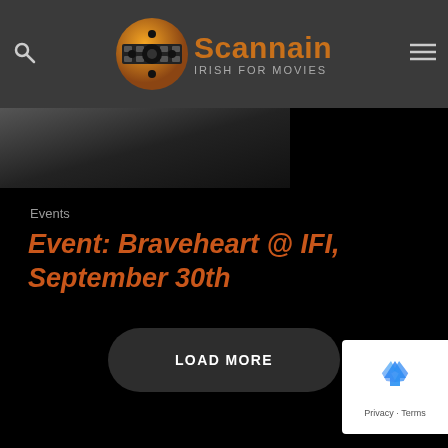Scannain — Irish For Movies
[Figure (screenshot): Partial dark screenshot of a movie/person image below the header]
Events
Event: Braveheart @ IFI, September 30th
LOAD MORE
[Figure (logo): reCAPTCHA badge with recycling/arrows icon and Privacy - Terms text]